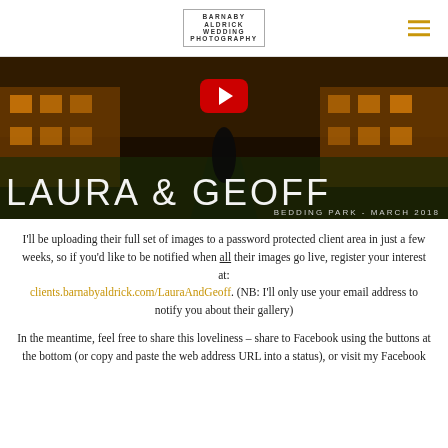BARNABY ALDRICK WEDDING PHOTOGRAPHY
[Figure (screenshot): Video thumbnail showing a wedding couple silhouetted against a lit mansion at night, with text overlay reading LAURA & GEOFF, BEDDING PARK - MARCH 2018, and a YouTube play button.]
I'll be uploading their full set of images to a password protected client area in just a few weeks, so if you'd like to be notified when all their images go live, register your interest at: clients.barnabyaldrick.com/LauraAndGeoff. (NB: I'll only use your email address to notify you about their gallery)
In the meantime, feel free to share this loveliness – share to Facebook using the buttons at the bottom (or copy and paste the web address URL into a status), or visit my Facebook page...